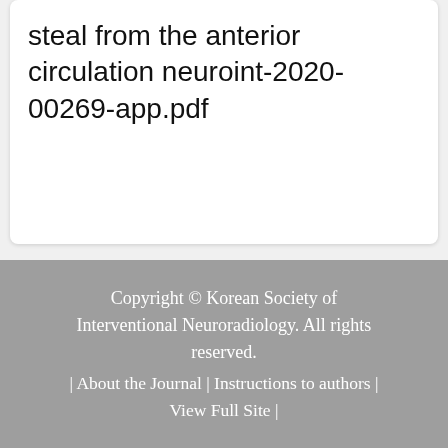steal from the anterior circulation neuroint-2020-00269-app.pdf
Copyright © Korean Society of Interventional Neuroradiology. All rights reserved. | About the Journal | Instructions to authors | View Full Site |